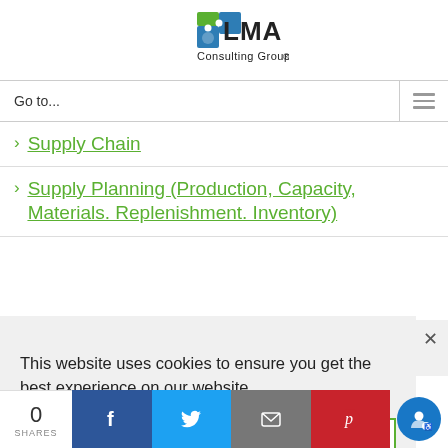[Figure (logo): LMA Consulting Group logo with green and blue icon and text 'LMA Consulting Group']
Go to...
Supply Chain
Supply Planning (Production, Capacity, Materials. Replenishment. Inventory)
This website uses cookies to ensure you get the best experience on our website.
Dismiss  Accept
0 SHARES